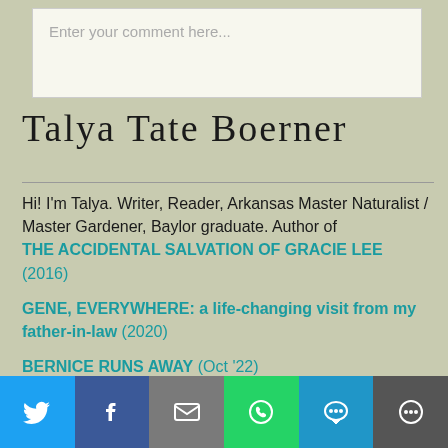Enter your comment here...
Talya Tate Boerner
Hi! I'm Talya. Writer, Reader, Arkansas Master Naturalist / Master Gardener, Baylor graduate. Author of THE ACCIDENTAL SALVATION OF GRACIE LEE (2016)

GENE, EVERYWHERE: a life-changing visit from my father-in-law (2020)

BERNICE RUNS AWAY (Oct '22)
[Figure (infographic): Social sharing bar with Twitter, Facebook, Email, WhatsApp, SMS, and More buttons]